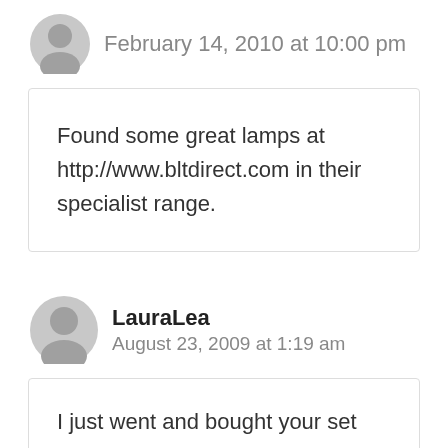February 14, 2010 at 10:00 pm
Found some great lamps at http://www.bltdirect.com in their specialist range.
LauraLea
August 23, 2009 at 1:19 am
I just went and bought your set